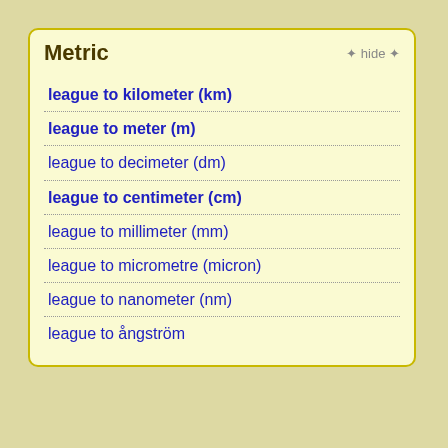Metric
league to kilometer (km)
league to meter (m)
league to decimeter (dm)
league to centimeter (cm)
league to millimeter (mm)
league to micrometre (micron)
league to nanometer (nm)
league to ångström